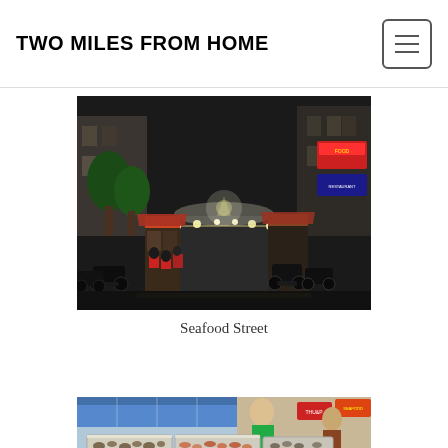TWO MILES FROM HOME
[Figure (photo): Night street scene with illuminated food stalls and restaurants lining both sides of a narrow street, motorcycles parked on right, people dining, bright overhead lights and colorful signs visible in background]
Seafood Street
[Figure (photo): Outdoor seafood market stall with shellfish and seafood displayed in metal trays, vendor visible in background, colorful market signs]